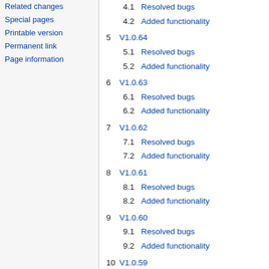Related changes
Special pages
Printable version
Permanent link
Page information
4.1  Resolved bugs
4.2  Added functionality
5  V1.0.64
5.1  Resolved bugs
5.2  Added functionality
6  V1.0.63
6.1  Resolved bugs
6.2  Added functionality
7  V1.0.62
7.1  Resolved bugs
7.2  Added functionality
8  V1.0.61
8.1  Resolved bugs
8.2  Added functionality
9  V1.0.60
9.1  Resolved bugs
9.2  Added functionality
10  V1.0.59
10.1  Resolved bugs
10.2  Added functionality